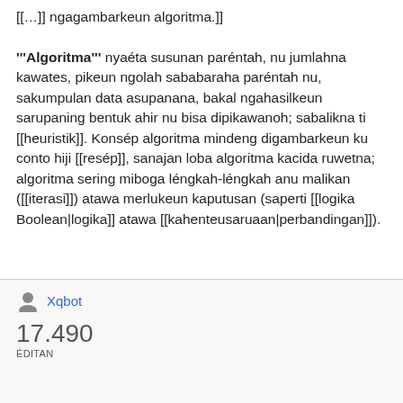[[…]] ngagambarkeun algoritma.]] '''Algoritma''' nyaéta susunan paréntah, nu jumlahna kawates, pikeun ngolah sababaraha paréntah nu, sakumpulan data asupanana, bakal ngahasilkeun sarupaning bentuk ahir nu bisa dipikawanoh; sabalikna ti [[heuristik]]. Konsép algoritma mindeng digambarkeun ku conto hiji [[resép]], sanajan loba algoritma kacida ruwetna; algoritma sering miboga léngkah-léngkah anu malikan ([[iterasi]]) atawa merlukeun kaputusan (saperti [[logika Boolean|logika]] atawa [[kahenteusaruaan|perbandingan]]).
Xqbot
17.490 EDITAN